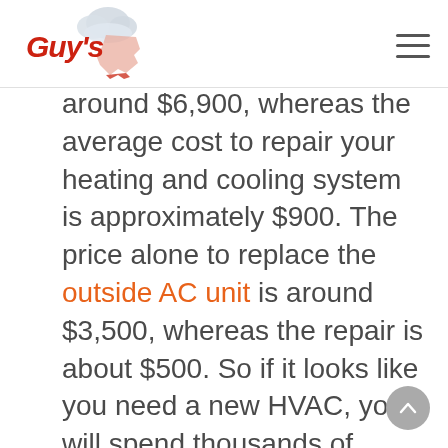Guy's [logo]
around $6,900, whereas the average cost to repair your heating and cooling system is approximately $900. The price alone to replace the outside AC unit is around $3,500, whereas the repair is about $500. So if it looks like you need a new HVAC, you will spend thousands of dollars, depending on the type and size of unit you